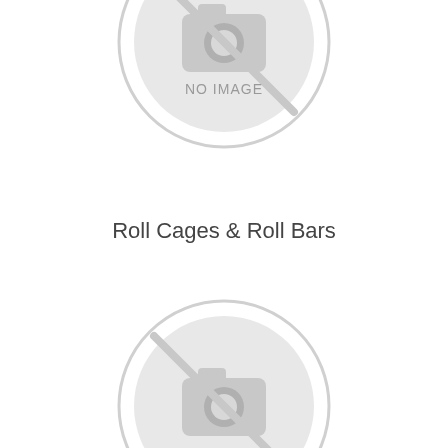[Figure (other): No image placeholder circle with camera icon and text NO IMAGE, partially visible at top of page]
Roll Cages & Roll Bars
[Figure (other): No image placeholder circle with camera icon and text NO IMAGE, partially visible at bottom of page]